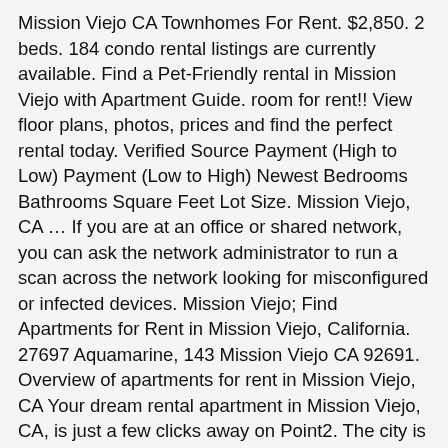Mission Viejo CA Townhomes For Rent. $2,850. 2 beds. 184 condo rental listings are currently available. Find a Pet-Friendly rental in Mission Viejo with Apartment Guide. room for rent!! View floor plans, photos, prices and find the perfect rental today. Verified Source Payment (High to Low) Payment (Low to High) Newest Bedrooms Bathrooms Square Feet Lot Size. Mission Viejo, CA … If you are at an office or shared network, you can ask the network administrator to run a scan across the network looking for misconfigured or infected devices. Mission Viejo; Find Apartments for Rent in Mission Viejo, California. 27697 Aquamarine, 143 Mission Viejo CA 92691. Overview of apartments for rent in Mission Viejo, CA Your dream rental apartment in Mission Viejo, CA, is just a few clicks away on Point2. The city is situated in the Saddleback Valley of the Santa Ana Mountains, less than an hour's drive to Los Angeles and only 30 minutes from the beach. This suburban area is close to Lake Forest and is encompassed by many local restaurants near Mission Viejo apartments and houses. 2 beds. ForRent.com provides you with the most